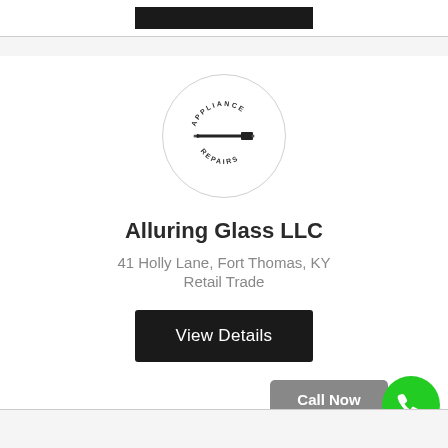[Figure (logo): Appliance Repair logo: circular badge with screwdriver icon and text 'APPLIANCE REPAIRS' arched around it]
Alluring Glass LLC
41 Holly Lane, Fort Thomas, KY
Retail Trade
View Details
Call Now